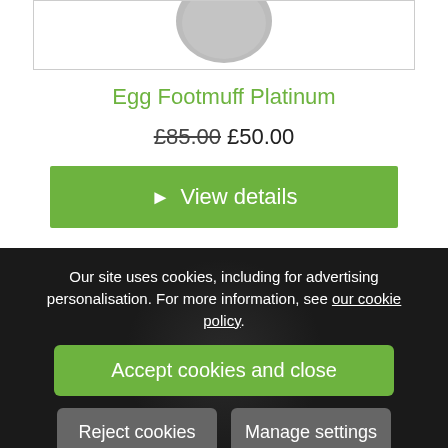[Figure (photo): Bottom portion of a platinum/grey egg footmuff product image, partially cropped at top]
Egg Footmuff Platinum
£85.00 £50.00
▶ View details
Our site uses cookies, including for advertising personalisation. For more information, see our cookie policy.
Accept cookies and close
Reject cookies
Manage settings